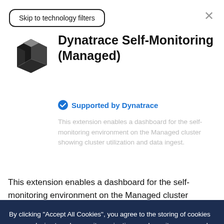Skip to technology filters
[Figure (logo): Dynatrace logo — black cube icon]
Dynatrace Self-Monitoring (Managed)
Supported by Dynatrace
This extension enables a dashboard for the self-monitoring environment on the Managed cluster showing cluster utilization and data ingest.
This extension enables a dashboard for the self-monitoring environment on the Managed cluster showing cluster utilization and data ingest on cluster.
This is intended for users, who responsible for monitoring health and size of the Dynatrace Managed Cluster This enables you to:
Get an overview of current Dynatrace cluster utilization.
Check if Dynatrace cluster is properly sized to handle
By clicking "Accept All Cookies", you agree to the storing of cookies on your device to enhance site navigation, analyze site usage, and assist in our marketing efforts.  Cookie Policy
Cookies Settings
Accept All Cookies